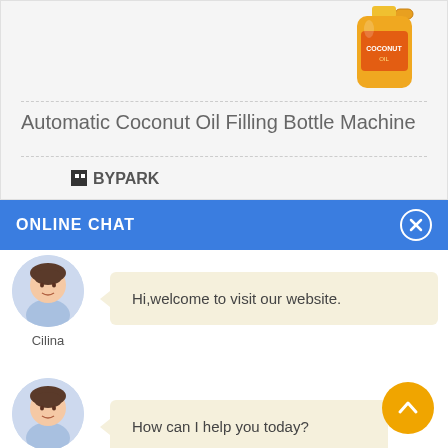[Figure (photo): Oil bottle product image (golden/orange colored bottle)]
Automatic Coconut Oil Filling Bottle Machine
[Figure (logo): Brand logo text: BYPARK]
ONLINE CHAT
[Figure (photo): Avatar photo of customer service agent named Cilina]
Cilina
Hi,welcome to visit our website.
[Figure (photo): Avatar photo of customer service agent named Cilina]
Cilina
How can I help you today?